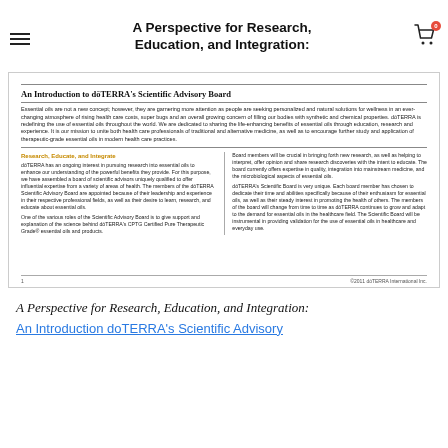A Perspective for Research, Education, and Integration:
An Introduction to dōTERRA's Scientific Advisory Board
Essential oils are not a new concept; however, they are garnering more attention as people are seeking personalized and natural solutions for wellness in an ever-changing atmosphere of rising health care costs, super bugs and an overall growing concern of filling our bodies with synthetic and chemical properties. dōTERRA is redefining the use of essential oils throughout the world. We are dedicated to sharing the life-enhancing benefits of essential oils through education, research and experience. It is our mission to unite both health care professionals of traditional and alternative medicine, as well as to encourage further study and application of therapeutic-grade essential oils in modern health care practices.
Research, Educate, and Integrate
dōTERRA has an ongoing interest in pursuing research into essential oils to enhance our understanding of the powerful benefits they provide. For this purpose, we have assembled a board of scientific advisors uniquely qualified to offer influential expertise from a variety of areas of health. The members of the dōTERRA Scientific Advisory Board are appointed because of their leadership and experience in their respective professional fields, as well as their desire to learn, research, and educate about essential oils.
One of the various roles of the Scientific Advisory Board is to give support and explanation of the science behind dōTERRA's CPTG Certified Pure Therapeutic Grade® essential oils and products.
Board members will be crucial in bringing forth new research, as well as helping to interpret, offer opinion and share research discoveries with the intent to educate. The board currently offers expertise in quality, integration into mainstream medicine, and the microbiological aspects of essential oils.
dōTERRA's Scientific Board is very unique. Each board member has chosen to dedicate their time and abilities specifically because of their enthusiasm for essential oils, as well as their steady interest in promoting the health of others. The members of the board will change from time to time as dōTERRA continues to grow and adapt to the demand for essential oils in the healthcare field. The Scientific Board will be instrumental in providing validation for the use of essential oils in healthcare and everyday use.
1    ©2011 dōTERRA International Inc.
A Perspective for Research, Education, and Integration:
An Introduction doTERRA's Scientific Advisory